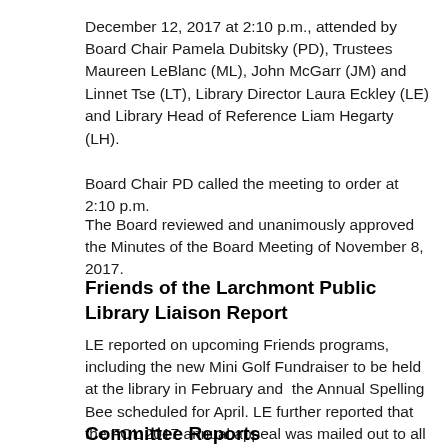December 12, 2017 at 2:10 p.m., attended by Board Chair Pamela Dubitsky (PD), Trustees Maureen LeBlanc (ML), John McGarr (JM) and Linnet Tse (LT), Library Director Laura Eckley (LE) and Library Head of Reference Liam Hegarty (LH).
Board Chair PD called the meeting to order at 2:10 p.m.
The Board reviewed and unanimously approved the Minutes of the Board Meeting of November 8, 2017.
Friends of the Larchmont Public Library Liaison Report
LE reported on upcoming Friends programs, including the new Mini Golf Fundraiser to be held at the library in February and  the Annual Spelling Bee scheduled for April. LE further reported that the FOL 2017 annual appeal was mailed out to all of 10538 this year for the first time.
Committee Reports
Schedule of Bills and Performance Report: The Board